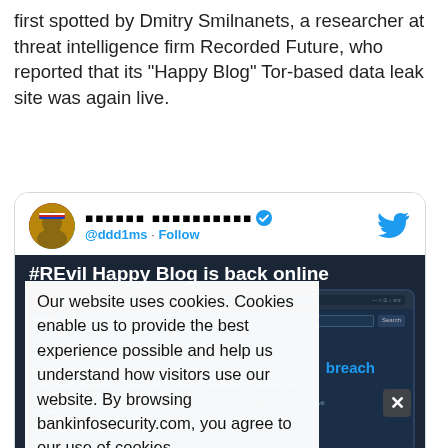first spotted by Dmitry Smilnanets, a researcher at threat intelligence firm Recorded Future, who reported that its "Happy Blog" Tor-based data leak site was again live.
[Figure (screenshot): Embedded tweet from @ddd1ms showing #REvil Happy Blog is back online, with a browser screenshot of the Happy Blog site and a cookie consent overlay reading 'Our website uses cookies. Cookies enable us to provide the best experience possible and help us understand how visitors use our website. By browsing bankinfosecurity.com, you agree to our use of cookies.' Timestamp: 5:22 PM · Sep 7, 2021]